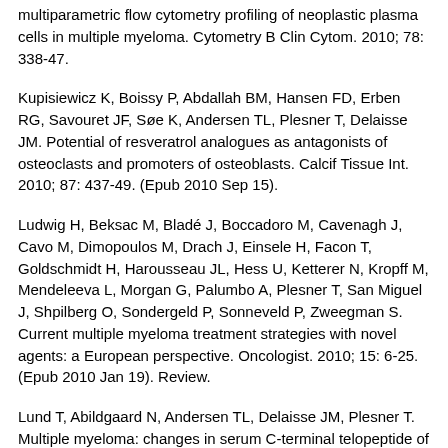multiparametric flow cytometry profiling of neoplastic plasma cells in multiple myeloma. Cytometry B Clin Cytom. 2010; 78: 338-47.
Kupisiewicz K, Boissy P, Abdallah BM, Hansen FD, Erben RG, Savouret JF, Søe K, Andersen TL, Plesner T, Delaisse JM. Potential of resveratrol analogues as antagonists of osteoclasts and promoters of osteoblasts. Calcif Tissue Int. 2010; 87: 437-49. (Epub 2010 Sep 15).
Ludwig H, Beksac M, Bladé J, Boccadoro M, Cavenagh J, Cavo M, Dimopoulos M, Drach J, Einsele H, Facon T, Goldschmidt H, Harousseau JL, Hess U, Ketterer N, Kropff M, Mendeleeva L, Morgan G, Palumbo A, Plesner T, San Miguel J, Shpilberg O, Sondergeld P, Sonneveld P, Zweegman S. Current multiple myeloma treatment strategies with novel agents: a European perspective. Oncologist. 2010; 15: 6-25. (Epub 2010 Jan 19). Review.
Lund T, Abildgaard N, Andersen TL, Delaisse JM, Plesner T. Multiple myeloma: changes in serum C-terminal telopeptide of collagen type I and bone-specific alkaline phosphatase can